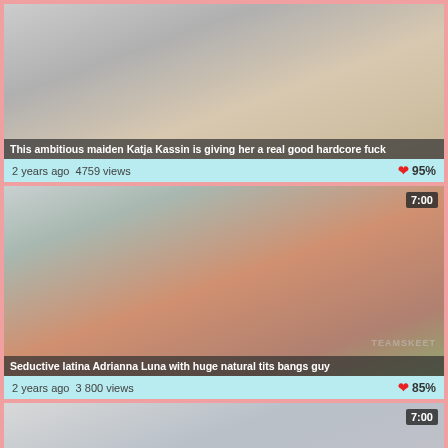[Figure (photo): Video thumbnail showing adult content - Katja Kassin]
This ambitious maiden Katja Kassin is giving her a real good hardcore fuck
2 years ago  4759 views
95%
[Figure (photo): Video thumbnail showing adult content - Adrianna Luna, duration 7:00]
Seductive latina Adrianna Luna with huge natural tits bangs guy
2 years ago  3800 views
85%
[Figure (photo): Video thumbnail showing adult content - partial, duration 7:00]